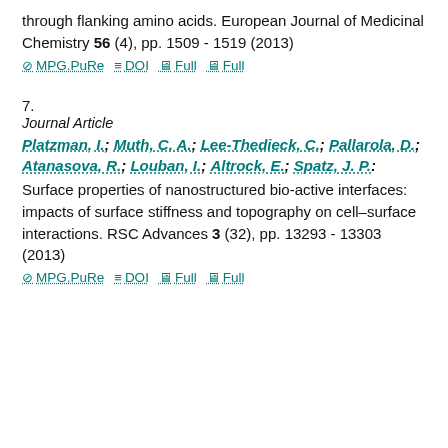through flanking amino acids. European Journal of Medicinal Chemistry 56 (4), pp. 1509 - 1519 (2013)
MPG.PuRe   DOI   Full   Full
7.
Journal Article
Platzman, I.; Muth, C. A.; Lee-Thedieck, C.; Pallarola, D.; Atanasova, R.; Louban, I.; Altrock, E.; Spatz, J. P.:
Surface properties of nanostructured bio-active interfaces: impacts of surface stiffness and topography on cell–surface interactions. RSC Advances 3 (32), pp. 13293 - 13303 (2013)
MPG.PuRe   DOI   Full   Full